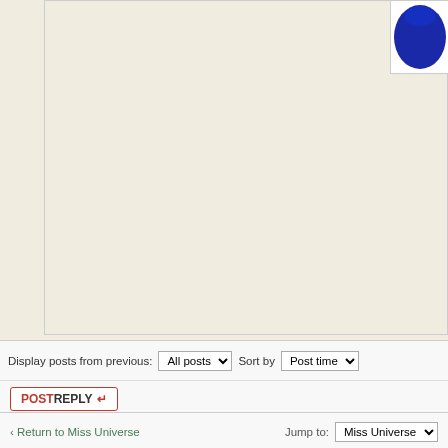[Figure (photo): Partial view of a blue circular object (possibly a logo or badge) on white background, cropped at top of page]
Display posts from previous: All posts ▾  Sort by  Post time ▾
POSTREPLY ↵
‹ Return to Miss Universe
Jump to: Miss Universe